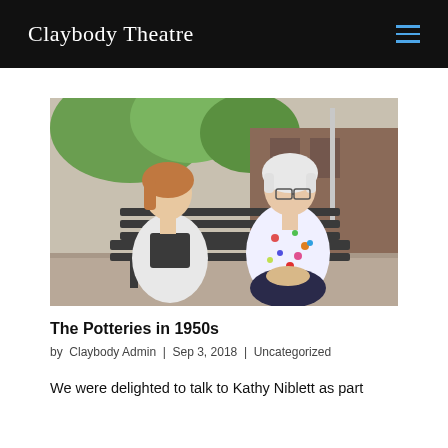Claybody Theatre
[Figure (photo): Two women sitting on a wooden bench outdoors. One woman on the left has shoulder-length reddish-brown hair and is wearing a white blazer over a dark top. The older woman on the right has short white hair, glasses, and is wearing a colorful floral blouse. Trees and a brick building are visible in the background.]
The Potteries in 1950s
by Claybody Admin | Sep 3, 2018 | Uncategorized
We were delighted to talk to Kathy Niblett as part